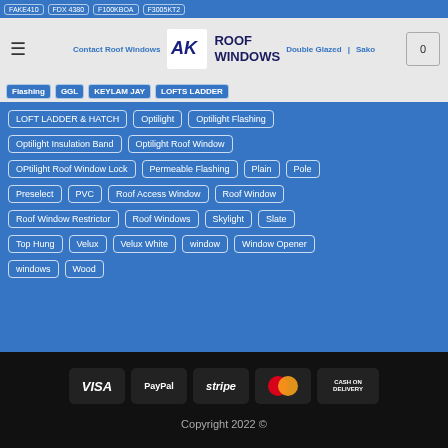AK Roof Windows
LOFT LADDER & HATCH | Optilight | Optilight Flashing | Optilight Insulation Band | Optilight Roof Window | OPtilight Roof Window Lock | Permeable Flashing | Plain | Pole | Preselect | PVC | Roof Access Window | Roof Window | Roof Window Restrictor | Roof Windows | Skylight | Slate | Top Hung | Velux | Velux White | window | Window Opener | windows | Wood
[Figure (logo): Payment icons: VISA, PayPal, stripe, MasterCard, Cash on Delivery]
Copyright 2022 ©